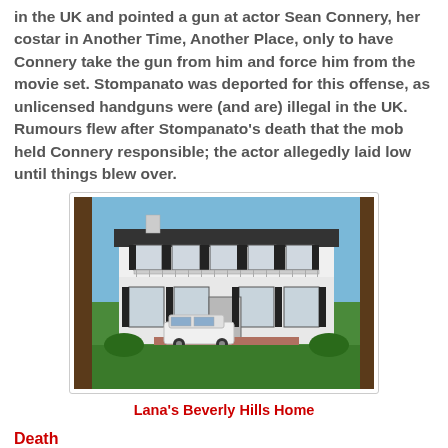in the UK and pointed a gun at actor Sean Connery, her costar in Another Time, Another Place, only to have Connery take the gun from him and force him from the movie set. Stompanato was deported for this offense, as unlicensed handguns were (and are) illegal in the UK. Rumours flew after Stompanato's death that the mob held Connery responsible; the actor allegedly laid low until things blew over.
[Figure (photo): Exterior photo of a white two-story colonial style house with black shutters, a balcony on the second floor, and a white SUV parked in the driveway. Two tall palm trees flank the image.]
Lana's Beverly Hills Home
Death